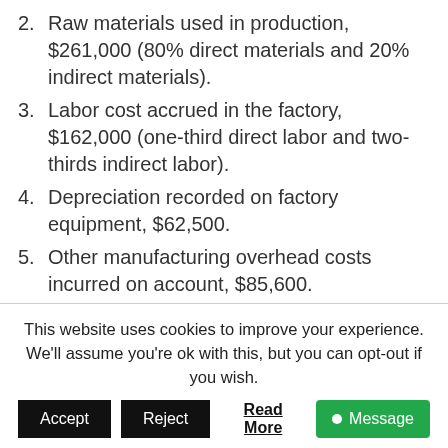2. Raw materials used in production, $261,000 (80% direct materials and 20% indirect materials).
3. Labor cost accrued in the factory, $162,000 (one-third direct labor and two-thirds indirect labor).
4. Depreciation recorded on factory equipment, $62,500.
5. Other manufacturing overhead costs incurred on account, $85,600.
6. Manufacturing overhead cost was applied to production on the basis of 40,870 machine-hours actually worked during the month.
7. The completed job for 12,400 custom-
This website uses cookies to improve your experience. We'll assume you're ok with this, but you can opt-out if you wish.